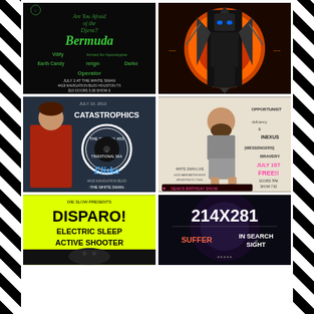[Figure (photo): Concert poster: Are You Afraid of the Djent? featuring BERMUDA, Vilify, Armed for Apocalypse, Earth Candy, Reign, Darke, and Operator. July 2 at The White Swan, 4419 Navigation Blvd Houston TX, $10, Doors 5:30, Show 6. Black background with green text.]
[Figure (photo): Dark sci-fi/metal artwork showing a symmetrical armored figure or robot against a circular fiery orange background with chains, blue eyes glowing.]
[Figure (photo): Concert poster: July 10, 2013 - Catastrophics, The Steady 45s, Fiska, 4419 Navigation Blvd - The White Swan. Colorful illustrated poster with a man in red shirt.]
[Figure (photo): Concert poster: Sean's Birthday Show, July 1st Free!! White Swan Live, 4419 Navigation Blvd, Houston TX. Shows bearded man in shorts. Bands include Opportunist, Nexus, Messengers, Bravery. Doors 7pm, Show 7:30.]
[Figure (photo): Concert poster: Die Slow Presents - DISPARO!, Electric Sleep, Active Shooter. Yellow/green background with bold black text.]
[Figure (photo): Concert poster: 214x281, Suffer, In Search of Sight. Dark background with large text.]